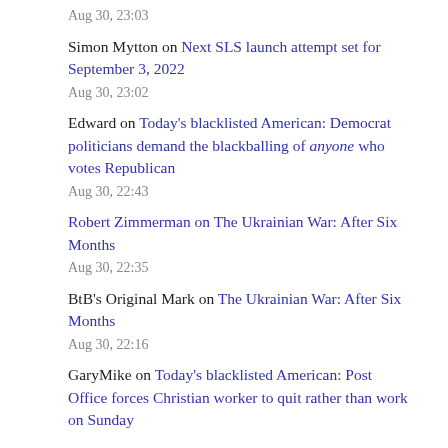Aug 30, 23:03
Simon Mytton on Next SLS launch attempt set for September 3, 2022
Aug 30, 23:02
Edward on Today's blacklisted American: Democrat politicians demand the blackballing of anyone who votes Republican
Aug 30, 22:43
Robert Zimmerman on The Ukrainian War: After Six Months
Aug 30, 22:35
BtB's Original Mark on The Ukrainian War: After Six Months
Aug 30, 22:16
GaryMike on Today's blacklisted American: Post Office forces Christian worker to quit rather than work on Sunday